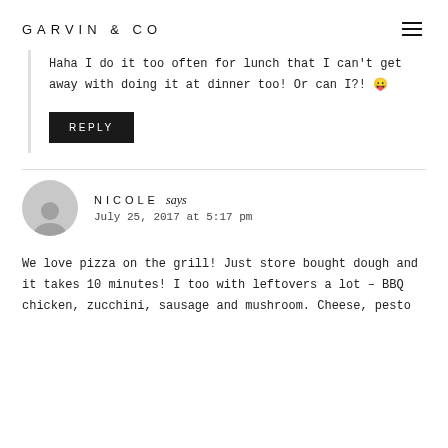GARVIN & CO
Haha I do it too often for lunch that I can't get away with doing it at dinner too! Or can I?! 😉
REPLY
NICOLE says
July 25, 2017 at 5:17 pm
We love pizza on the grill! Just store bought dough and it takes 10 minutes! I too with leftovers a lot – BBQ chicken, zucchini, sausage and mushroom. Cheese, pesto